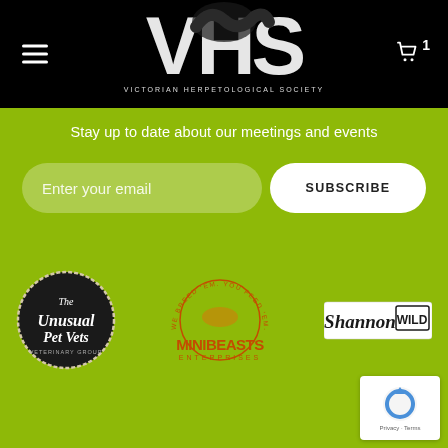[Figure (logo): Victorian Herpetological Society (VHS) logo with large white VHS letters and a snake coiled around them on a black background]
Stay up to date about our meetings and events
Enter your email
SUBSCRIBE
[Figure (logo): The Unusual Pet Vets circular logo - dark circular badge with white script text]
[Figure (logo): Minibeasts Enterprises logo - orange text with circular badge and reptile image]
[Figure (logo): ShannonWild logo - black script text with WILD in outlined box]
[Figure (logo): Google reCAPTCHA badge with Privacy and Terms links]